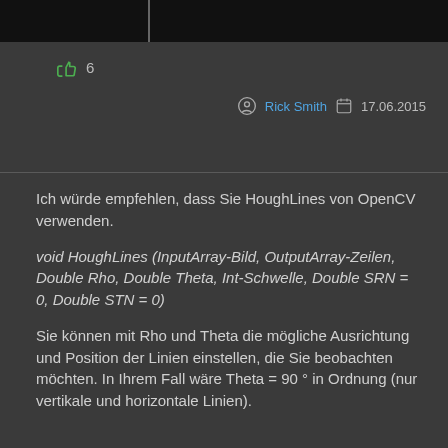[Figure (screenshot): Partial screenshot of a dark UI element at the top of the page]
[Figure (infographic): Thumbs up icon with count 6]
Rick Smith  17.06.2015
Ich würde empfehlen, dass Sie HoughLines von OpenCV verwenden.
void HoughLines (InputArray-Bild, OutputArray-Zeilen, Double Rho, Double Theta, Int-Schwelle, Double SRN = 0, Double STN = 0)
Sie können mit Rho und Theta die mögliche Ausrichtung und Position der Linien einstellen, die Sie beobachten möchten. In Ihrem Fall wäre Theta = 90 ° in Ordnung (nur vertikale und horizontale Linien).